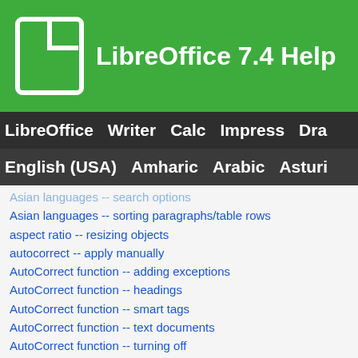LibreOffice 7.4 Help
LibreOffice  Writer  Calc  Impress  Dra...
English (USA)  Amharic  Arabic  Asturi...
Asian languages -- search options
Asian languages -- sorting paragraphs/table rows
aspect ratio -- resizing objects
autocorrect -- apply manually
AutoCorrect function -- adding exceptions
AutoCorrect function -- headings
AutoCorrect function -- smart tags
AutoCorrect function -- text documents
AutoCorrect function -- turning off
AutoCorrect function -- word completion
Customize